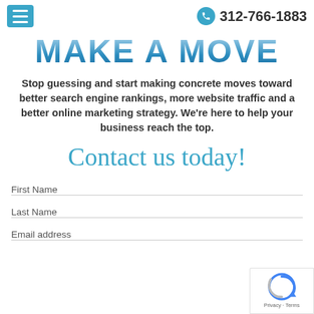≡  312-766-1883
MAKE A MOVE
Stop guessing and start making concrete moves toward better search engine rankings, more website traffic and a better online marketing strategy. We're here to help your business reach the top.
Contact us today!
First Name
Last Name
Email address